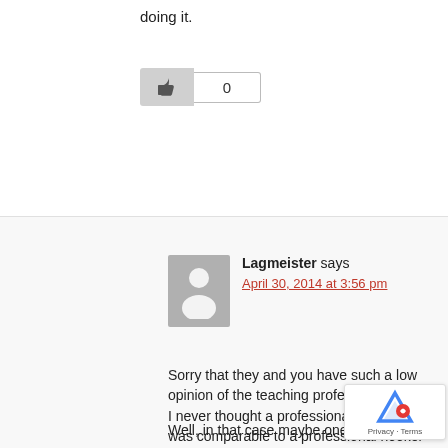doing it.
[Figure (other): Like button with thumbs up icon and count of 0]
Lagmeister says
April 30, 2014 at 3:56 pm
Sorry that they and you have such a low opinion of the teaching profession.
I never thought a professional teacher was comparable to a professional hooker – in that they both get paid. As you say – "That's it… you get paid."
Well, in that case maybe one